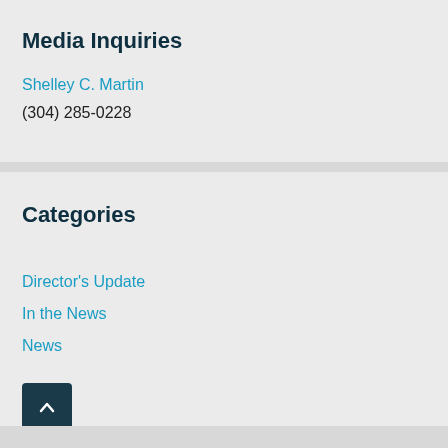Media Inquiries
Shelley C. Martin
(304) 285-0228
Categories
Director's Update
In the News
News